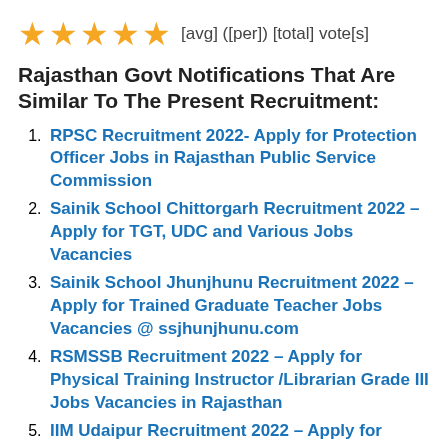[Figure (other): Five gold star rating icons followed by text '[avg] ([per]) [total] vote[s]']
Rajasthan Govt Notifications That Are Similar To The Present Recruitment:
RPSC Recruitment 2022- Apply for Protection Officer Jobs in Rajasthan Public Service Commission
Sainik School Chittorgarh Recruitment 2022 – Apply for TGT, UDC and Various Jobs Vacancies
Sainik School Jhunjhunu Recruitment 2022 – Apply for Trained Graduate Teacher Jobs Vacancies @ ssjhunjhunu.com
RSMSSB Recruitment 2022 – Apply for Physical Training Instructor /Librarian Grade III Jobs Vacancies in Rajasthan
IIM Udaipur Recruitment 2022 – Apply for